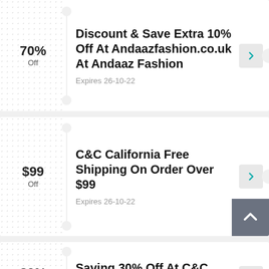70% Off
Discount & Save Extra 10% Off At Andaazfashion.co.uk At Andaaz Fashion
Expires 26-10-22
$99 Off
C&C California Free Shipping On Order Over $99
Expires 26-10-22
30% Off
Saving 30% Off At C&C California